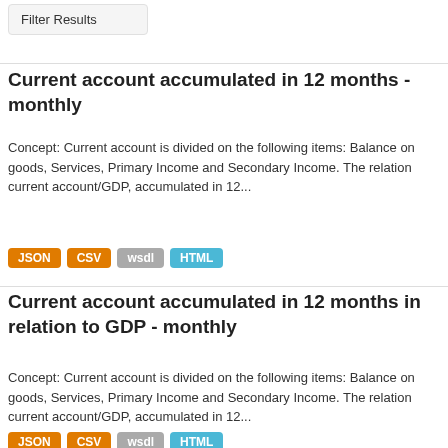Filter Results
Current account accumulated in 12 months - monthly
Concept: Current account is divided on the following items: Balance on goods, Services, Primary Income and Secondary Income. The relation current account/GDP, accumulated in 12...
JSON  CSV  wsdl  HTML
Current account accumulated in 12 months in relation to GDP - monthly
Concept: Current account is divided on the following items: Balance on goods, Services, Primary Income and Secondary Income. The relation current account/GDP, accumulated in 12...
JSON  CSV  wsdl  HTML